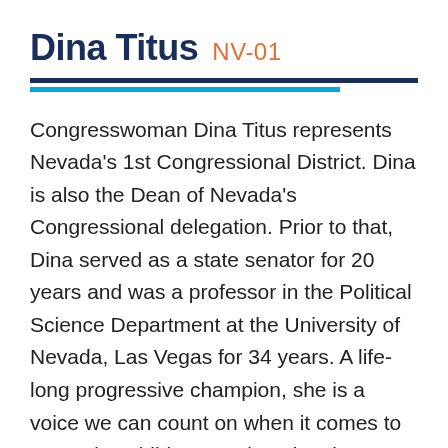Dina Titus NV-01
Congresswoman Dina Titus represents Nevada's 1st Congressional District. Dina is also the Dean of Nevada's Congressional delegation. Prior to that, Dina served as a state senator for 20 years and was a professor in the Political Science Department at the University of Nevada, Las Vegas for 34 years. A life-long progressive champion, she is a voice we can count on when it comes to protecting children, seniors, immigrants, and people with disabilities. She is a founding member of the Medicare for All Caucus and a co-founding member of the Labor Caucus. She's also